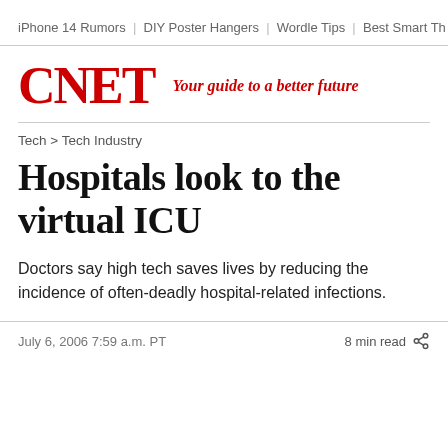iPhone 14 Rumors | DIY Poster Hangers | Wordle Tips | Best Smart Th
[Figure (logo): CNET logo in red bold serif font with tagline 'Your guide to a better future' in red italic]
Tech > Tech Industry
Hospitals look to the virtual ICU
Doctors say high tech saves lives by reducing the incidence of often-deadly hospital-related infections.
July 6, 2006 7:59 a.m. PT    8 min read